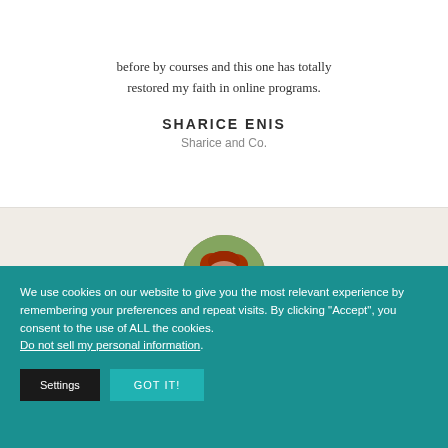before by courses and this one has totally restored my faith in online programs.
SHARICE ENIS
Sharice and Co.
[Figure (photo): Circular portrait photo of a woman with curly red hair wearing a dark top and blue beaded necklace, smiling, outdoors blurred background.]
We use cookies on our website to give you the most relevant experience by remembering your preferences and repeat visits. By clicking "Accept", you consent to the use of ALL the cookies. Do not sell my personal information.
Settings  GOT IT!